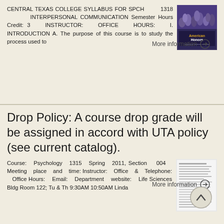CENTRAL TEXAS COLLEGE SYLLABUS FOR SPCH 1318 INTERPERSONAL COMMUNICATION Semester Hours Credit: 3 INSTRUCTOR: OFFICE HOURS: I. INTRODUCTION A. The purpose of this course is to study the process used to
[Figure (photo): AmericanHonors book or publication cover showing a group of students]
More information →
Drop Policy: A course drop grade will be assigned in accord with UTA policy (see current catalog).
Course: Psychology 1315 Spring 2011, Section 004 Meeting place and time: Instructor: Office & Telephone: Office Hours: Email: Department website: Life Sciences Bldg Room 122; Tu & Th 9:30AM 10:50AM Linda
[Figure (screenshot): Thumbnail image of a document/syllabus page with text]
More information →